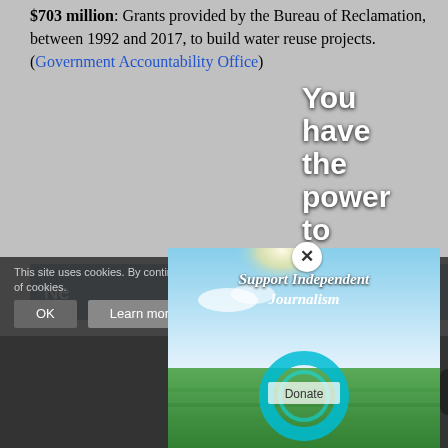$703 million: Grants provided by the Bureau of Reclamation, between 1992 and 2017, to build water reuse projects. (Government Accountability Office)
Ne...
Wheeler...
The Senate Environment and Public Works Committee... nominee to helm the... administrator.
Andrew Wheeler, second in command at the U.S. Environmental Protection Agency, became the acting administrator in July when Scott Pruitt resigned after numerous ethics investigations.
Wheeler had a...
[Figure (screenshot): Popup modal ad showing 'Support Independent Journalism' over a landscape photo with a Donate button]
You have the power to inform...
This site uses cookies. By continuing to browse the site, you are agreeing to our use of cookies.
[Figure (screenshot): Social media sharing icons bar: Twitter, LinkedIn, Link, Facebook, SMS, Kicker]